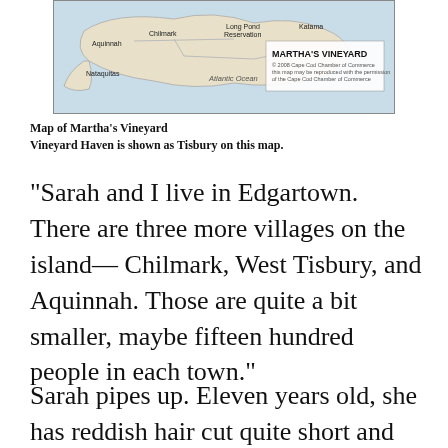[Figure (map): Map of Martha's Vineyard showing towns including Aquinnah, Chilmark, Nataquitas, Edgartown area, Long Pond Reservation, Katama, and Atlantic Ocean. Labeled 'MARTHA'S VINEYARD' with Cape Cod Chamber of Commerce copyright notice.]
Map of Martha's Vineyard
Vineyard Haven is shown as Tisbury on this map.
“Sarah and I live in Edgartown. There are three more villages on the island—Chilmark, West Tisbury, and Aquinnah. Those are quite a bit smaller, maybe fifteen hundred people in each town.”
Sarah pipes up. Eleven years old, she has reddish hair cut quite short and radiates energy. “West Tisbury is kind of like